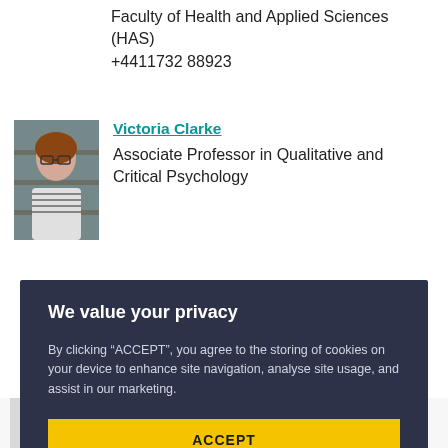Faculty of Health and Applied Sciences (HAS)
+4411732 88923
[Figure (photo): Portrait photo of Victoria Clarke, a woman with glasses and dark hair, wearing a striped top, in front of bookshelves]
Victoria Clarke
Associate Professor in Qualitative and Critical Psychology
[Figure (screenshot): Cookie consent overlay with dark navy background. Title: 'We value your privacy'. Body text about cookies. Two yellow buttons: ACCEPT and VIEW COOKIE SETTINGS]
We value your privacy
By clicking “ACCEPT”, you agree to the storing of cookies on your device to enhance site navigation, analyse site usage, and assist in our marketing.
ACCEPT
VIEW COOKIE SETTINGS